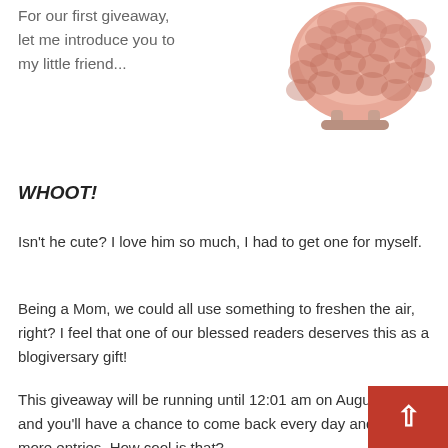[Figure (photo): Pink ceramic owl figurine with scalloped feather texture pattern, sitting on small feet, viewed from back/side angle against white background.]
For our first giveaway, let me introduce you to my little friend...
WHOOT!
Isn't he cute? I love him so much, I had to get one for myself.
Being a Mom, we could all use something to freshen the air, right? I feel that one of our blessed readers deserves this as a blogiversary gift!
This giveaway will be running until 12:01 am on August 17th, and you'll have a chance to come back every day and gain more entries. How cool is that?